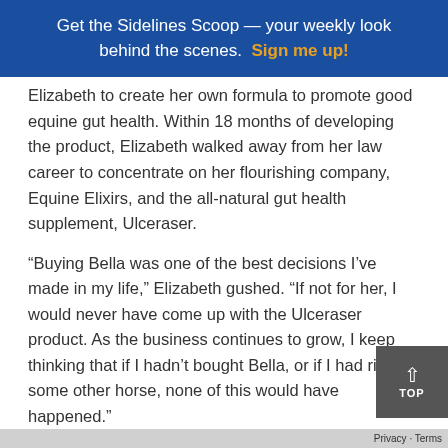Get the Sidelines Scoop — your weekly look behind the scenes. Sign me up!
Elizabeth to create her own formula to promote good equine gut health. Within 18 months of developing the product, Elizabeth walked away from her law career to concentrate on her flourishing company, Equine Elixirs, and the all-natural gut health supplement, Ulceraser.
“Buying Bella was one of the best decisions I’ve made in my life,” Elizabeth gushed. “If not for her, I would never have come up with the Ulceraser product. As the business continues to grow, I keep thinking that if I hadn’t bought Bella, or if I had ridden some other horse, none of this would have happened.”